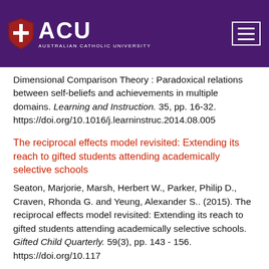[Figure (logo): Australian Catholic University (ACU) logo with shield icon and navigation hamburger button on purple header bar]
Dimensional Comparison Theory : Paradoxical relations between self-beliefs and achievements in multiple domains. Learning and Instruction. 35, pp. 16-32. https://doi.org/10.1016/j.learninstruc.2014.08.005
The reciprocal effects model revisited: Extending its reach to gifted students attending academically selective schools
Seaton, Marjorie, Marsh, Herbert W., Parker, Philip D., Craven, Rhonda G. and Yeung, Alexander S.. (2015). The reciprocal effects model revisited: Extending its reach to gifted students attending academically selective schools. Gifted Child Quarterly. 59(3), pp. 143 - 156. https://doi.org/10.117